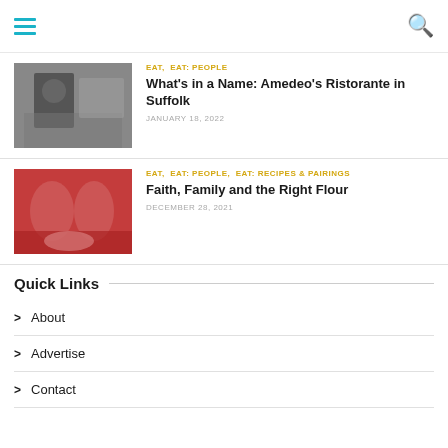Navigation header with hamburger menu and search icon
[Figure (photo): Black and white photo of a person working in a restaurant kitchen]
EAT, EAT: PEOPLE
What's in a Name: Amedeo's Ristorante in Suffolk
JANUARY 18, 2022
[Figure (photo): Two people in red chef uniforms working in a kitchen, smiling]
EAT, EAT: PEOPLE, EAT: RECIPES & PAIRINGS
Faith, Family and the Right Flour
DECEMBER 28, 2021
Quick Links
About
Advertise
Contact